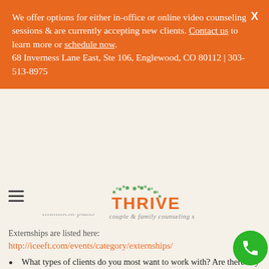We offer options for either in-office or online video counseling sessions & are currently accepting new clients. Contact us to learn more or schedule now. 68 Inverness Lane East, Ste 106, Englewood, CO 80112 | 303-513-8975
please describe. Attendance at an ICEEFT endorsed EFT Externship (4-day training) is a requirement of the position. Imminent plans would be required before a job offer would be made. All ICEEFT approved EFT Externships are listed here:
http://iceeft.com/events/category/externships/
What types of clients do you most want to work with? Are there any client issues or concerns you do not feel comfortable working with, or are beyond your current competency?
Please describe your training and/or activism in anti-racism, cultural humility and your plan for continuing to learn in this area.
What do you hope to gain individually and professionally from this counseling job? What are your 1, 3 and 5 year career goals? How much does couples work and being...